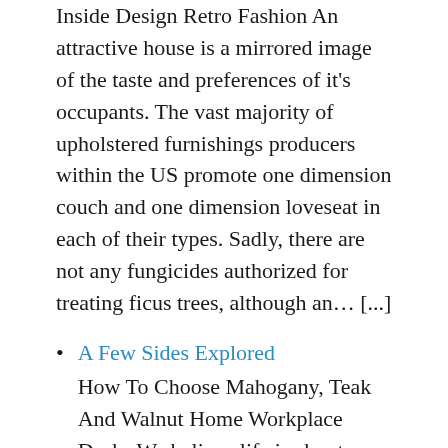Inside Design Retro Fashion An attractive house is a mirrored image of the taste and preferences of it's occupants. The vast majority of upholstered furnishings producers within the US promote one dimension couch and one dimension loveseat in each of their types. Sadly, there are not any fungicides authorized for treating ficus trees, although an... [...]
A Few Sides Explored
How To Choose Mahogany, Teak And Walnut Home Workplace Desks We believe life is about following your ardour. A number of the exotic wicker furniture are chairs, tables, solar beds, sofas and loveseats. At Furnishings for France, now in our 14th year,